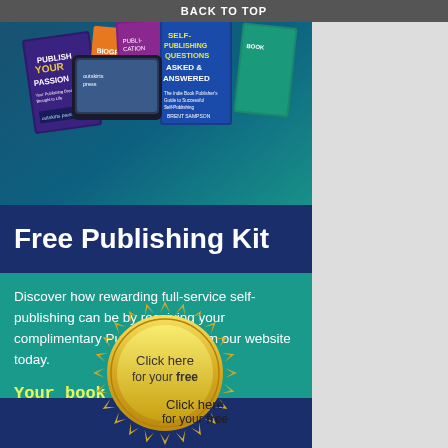BACK TO TOP
[Figure (photo): Collection of Outskirts Press publishing books and materials fanned out, including 'Self-Publishing Questions Asked & Answered' by Brent Sampson and 'Publish Your Passion' book covers, on a teal/dark background]
Free Publishing Kit
Discover how rewarding full-service self-publishing can be by receiving your complimentary Publishing Kit from our website today.
Your book matters, Let's Make it Your Way.
Click here for your free